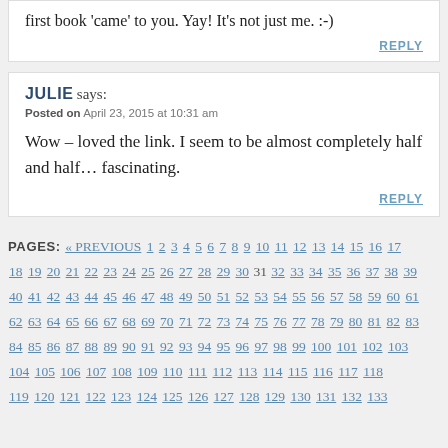first book 'came' to you. Yay! It's not just me. :-)
REPLY
JULIE says:
Posted on April 23, 2015 at 10:31 am
Wow – loved the link. I seem to be almost completely half and half… fascinating.
REPLY
PAGES: « PREVIOUS 1 2 3 4 5 6 7 8 9 10 11 12 13 14 15 16 17 18 19 20 21 22 23 24 25 26 27 28 29 30 31 32 33 34 35 36 37 38 39 40 41 42 43 44 45 46 47 48 49 50 51 52 53 54 55 56 57 58 59 60 61 62 63 64 65 66 67 68 69 70 71 72 73 74 75 76 77 78 79 80 81 82 83 84 85 86 87 88 89 90 91 92 93 94 95 96 97 98 99 100 101 102 103 104 105 106 107 108 109 110 111 112 113 114 115 116 117 118 119 120 121 122 123 124 125 126 127 128 129 130 131 132 133